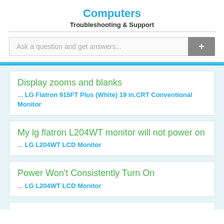Computers
Troubleshooting & Support
Ask a question and get answers...
Display zooms and blanks ... LG Flatron 915FT Plus (White) 19 in.CRT Conventional Monitor
My lg flatron L204WT monitor will not power on ... LG L204WT LCD Monitor
Power Won't Consistently Turn On ... LG L204WT LCD Monitor
LG1717S - Power light flashing - no image. The monitor is probably on protection. To start...